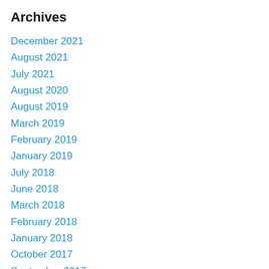Archives
December 2021
August 2021
July 2021
August 2020
August 2019
March 2019
February 2019
January 2019
July 2018
June 2018
March 2018
February 2018
January 2018
October 2017
September 2017
July 2017
June 2017
February 2017